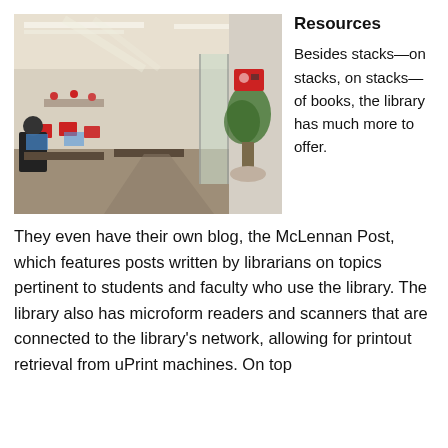[Figure (photo): Interior of a library with students working at tables with computers, red chairs, fluorescent lighting, glass partition walls, and a potted tree near the entrance area.]
Resources
Besides stacks—on stacks, on stacks—of books, the library has much more to offer.
They even have their own blog, the McLennan Post, which features posts written by librarians on topics pertinent to students and faculty who use the library. The library also has microform readers and scanners that are connected to the library's network, allowing for printout retrieval from uPrint machines. On top